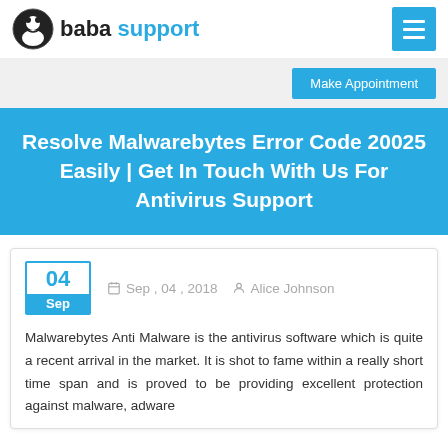baba support
Make Appointment
Resolve Malwarebytes Error Code 20025 Easily | Get In Touch With Us For Antivirus Support
Sep , 04 , 2018   Alice Johnson
Malwarebytes Anti Malware is the antivirus software which is quite a recent arrival in the market. It is shot to fame within a really short time span and is proved to be providing excellent protection against malware, adware